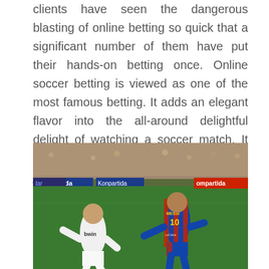clients have seen the dangerous blasting of online betting so quick that a significant number of them have put their hands-on betting once. Online soccer betting is viewed as one of the most famous betting. It adds an elegant flavor into the all-around delightful delight of watching a soccer match. It gives punters the unique rush that they just can find at soccer betting. Individuals bet in their beloved groups, on their own instinct, as their relaxation leisure activity.
[Figure (photo): Two soccer players competing on a field during a match — a Real Madrid player in white kit with 'bwin' sponsor and a Barcelona player wearing number 10 'MESSI' jersey in blue and red stripes, with a packed stadium crowd in the background and advertising boards visible.]